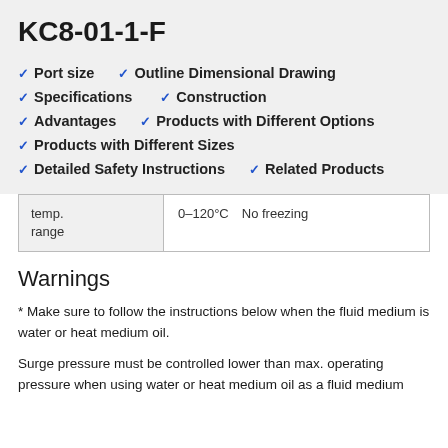KC8-01-1-F
Port size
Outline Dimensional Drawing
Specifications
Construction
Advantages
Products with Different Options
Products with Different Sizes
Detailed Safety Instructions
Related Products
|  |  |
| --- | --- |
| temp. range | 0–120°C　No freezing　 |
Warnings
* Make sure to follow the instructions below when the fluid medium is water or heat medium oil.
Surge pressure must be controlled lower than max. operating pressure when using water or heat medium oil as a fluid medium